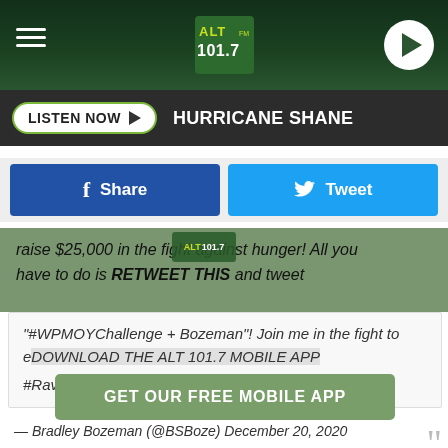ALT 101.7 — HURRICANE SHANE — LISTEN NOW
[Figure (logo): ALT 101.7 radio station logo in green and yellow on dark green header bar]
LISTEN NOW ▶  HURRICANE SHANE
Share   Tweet
raise $25,000 in the fight against hunger! All you have to do is RETWEET THIS and tweet "#WPMOYChallenge + Bozeman"! Join me in the fight to erase hunger. #RavensNation pic.twitter.com/eOpmkzxTSN
DOWNLOAD THE ALT 101.7 MOBILE APP
GET OUR FREE MOBILE APP
— Bradley Bozeman (@BSBoze) December 20, 2020
Bozeman is entering year five as a member of the Baltimore Ravens, working his way from being a sixth-round draft pick,